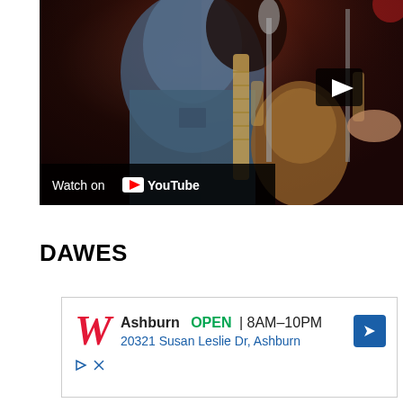[Figure (screenshot): YouTube video thumbnail showing a bearded musician in a denim jacket playing guitar near a microphone in a dimly lit studio. A play button is overlaid on the right side. A 'Watch on YouTube' bar appears at the bottom left of the video.]
DAWES
[Figure (other): Advertisement for Walgreens showing the Walgreens script W logo in red, 'Ashburn OPEN 8AM-10PM' and address '20321 Susan Leslie Dr, Ashburn' with a blue navigation arrow icon. Play and close icons at bottom.]